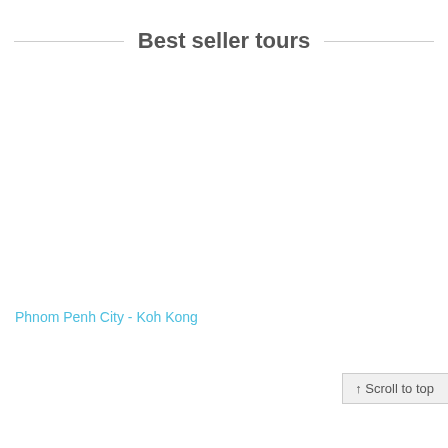Best seller tours
Phnom Penh City - Koh Kong
↑ Scroll to top